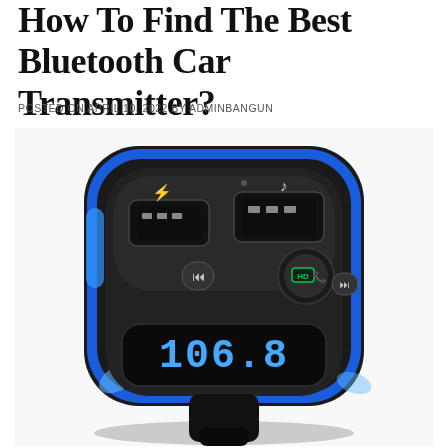How To Find The Best Bluetooth Car Transmitter?
POSTED ON APRIL 10, 2022 BY ADMINBANGUN
[Figure (photo): A Bluetooth FM car transmitter with blue LED ring, two USB charging ports, HD call button, media control buttons, and a digital display showing 106.8 MHz frequency.]